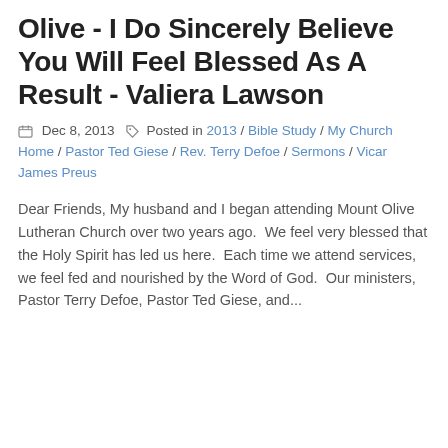Olive - I Do Sincerely Believe You Will Feel Blessed As A Result - Valiera Lawson
Dec 8, 2013   Posted in 2013 / Bible Study / My Church Home / Pastor Ted Giese / Rev. Terry Defoe / Sermons / Vicar James Preus
Dear Friends, My husband and I began attending Mount Olive Lutheran Church over two years ago.  We feel very blessed that the Holy Spirit has led us here.  Each time we attend services, we feel fed and nourished by the Word of God.  Our ministers, Pastor Terry Defoe, Pastor Ted Giese, and...